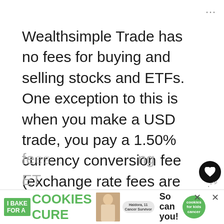Wealthsimple Trade has no fees for buying and selling stocks and ETFs. One exception to this is when you make a USD trade, you pay a 1.50% currency conversion fee (exchange rate fees are typical for brokerages).
Questrade charges a $4.95 minimum fee per trade to sell ETFs and buy or sell stocks. You pay $19.95 USD for precious metals and $9.95 + $1 for options. ECN fees...